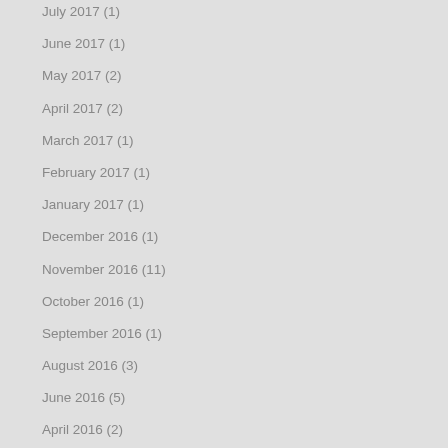July 2017 (1)
June 2017 (1)
May 2017 (2)
April 2017 (2)
March 2017 (1)
February 2017 (1)
January 2017 (1)
December 2016 (1)
November 2016 (11)
October 2016 (1)
September 2016 (1)
August 2016 (3)
June 2016 (5)
April 2016 (2)